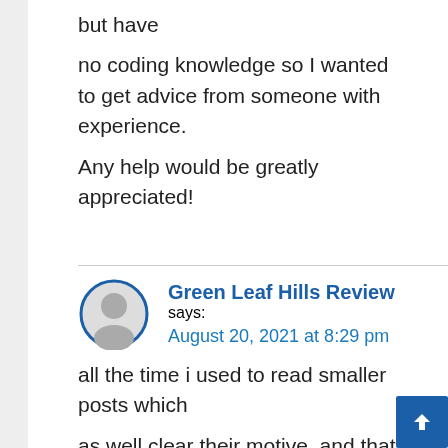but have no coding knowledge so I wanted to get advice from someone with experience.
Any help would be greatly appreciated!
Green Leaf Hills Review says:
August 20, 2021 at 8:29 pm

all the time i used to read smaller posts which
as well clear their motive, and that is also happening with this